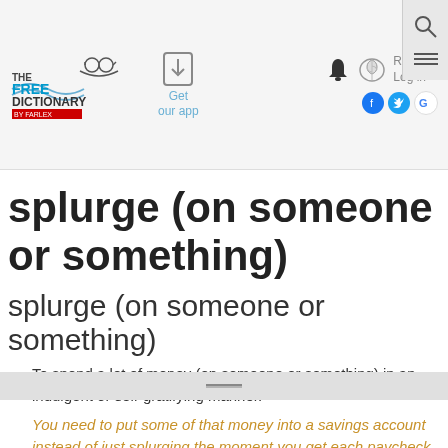The Free Dictionary by Farlex — Get our app — Register Log in
splurge (on someone or something)
splurge (on someone or something)
To spend a lot of money (on someone or something) in an indulgent or self-gratifying manner.
You need to put some of that money into a savings account instead of just splurging the moment you get each paycheck.